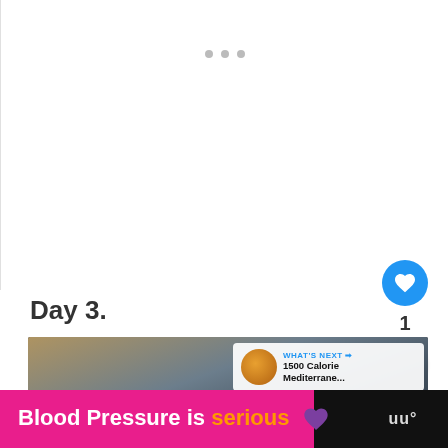[Figure (screenshot): White area with three small grey pagination dots near top center, representing a slideshow or carousel indicator]
Day 3.
[Figure (screenshot): A blurred video thumbnail showing hands on a keyboard/device with a 'What's Next' overlay showing '1500 Calorie Mediterrane...' and a food thumbnail]
[Figure (screenshot): Advertisement banner reading 'Blood Pressure is serious' with a purple heart icon on pink background, and a dark right section with 'uu°' logo]